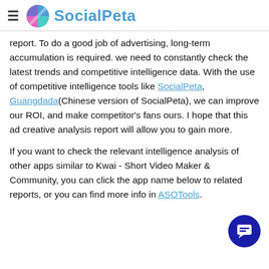≡ SocialPeta
report. To do a good job of advertising, long-term accumulation is required. we need to constantly check the latest trends and competitive intelligence data. With the use of competitive intelligence tools like SocialPeta, Guangdada(Chinese version of SocialPeta), we can improve our ROI, and make competitor's fans ours. I hope that this ad creative analysis report will allow you to gain more.
If you want to check the relevant intelligence analysis of other apps similar to Kwai - Short Video Maker & Community, you can click the app name below to related reports, or you can find more info in ASOTools.